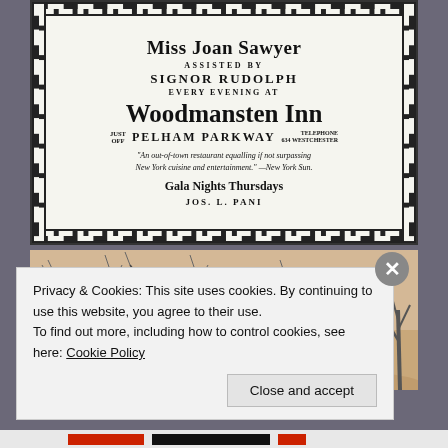[Figure (illustration): Vintage newspaper advertisement for Woodmansten Inn. Text reads: Miss Joan Sawyer / Assisted By / Signor Rudolph / Every Evening At / Woodmansten Inn / Just Off Pelham Parkway / Telephone 634 Westchester / 'An out-of-town restaurant equalling if not surpassing New York cuisine and entertainment.' —New York Sun. / Gala Nights Thursdays / JOS. L. PANI. Framed by a Greek key decorative border.]
[Figure (illustration): Vintage sepia-toned postcard or print showing bare trees in winter in a park or outdoor setting.]
Privacy & Cookies: This site uses cookies. By continuing to use this website, you agree to their use.
To find out more, including how to control cookies, see here: Cookie Policy